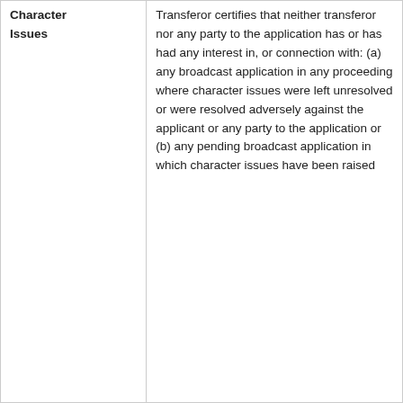| Character Issues | Transferor certifies that neither transferor nor any party to the application has or has had any interest in, or connection with: (a) any broadcast application in any proceeding where character issues were left unresolved or were resolved adversely against the applicant or any party to the application or (b) any pending broadcast application in which character issues have been raised |